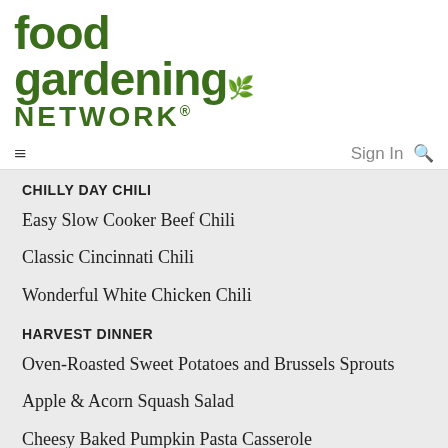[Figure (logo): Food Gardening Network logo in dark green bold text]
≡   Sign In 🔍
CHILLY DAY CHILI
Easy Slow Cooker Beef Chili
Classic Cincinnati Chili
Wonderful White Chicken Chili
HARVEST DINNER
Oven-Roasted Sweet Potatoes and Brussels Sprouts
Apple & Acorn Squash Salad
Cheesy Baked Pumpkin Pasta Casserole
Simple Butternut Squash Casserole
Cream Cheese Mashed Potatoes